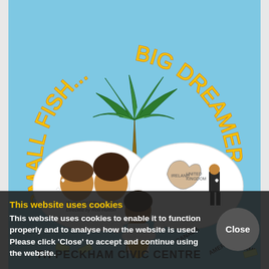[Figure (illustration): Movie/theatre poster for 'Small Fish...Big Dreamer'. Blue sky background with a palm tree in the center. Curved yellow and orange text forms an arc reading 'SMALL FISH...BIG DREAMER'. Below are two thought-bubble illustrations: the left bubble shows two people facing each other (a couple), labeled 'CANADA' and 'AMERICA'; the right bubble shows a map of the UK/England with a figure in a suit, labeled 'ENGLAND' and 'MIAMI'. A central figure of a woman stands between the bubbles. Currency notes are scattered around. Text at bottom mentions writer Wilbert Oliver, director Rob Hutton, and 'TH PECKHAM CIVIC CENTRE'.]
This website uses cookies
This website uses cookies to enable it to function properly and to analyse how the website is used. Please click 'Close' to accept and continue using the website.